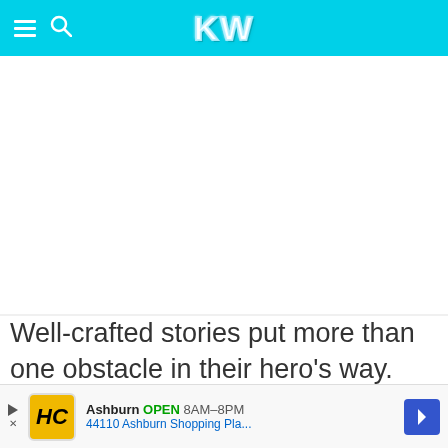KW
[Figure (other): White blank content area, likely an image or advertisement placeholder]
Well-crafted stories put more than one obstacle in their hero's way. Often a character is just about to get what they want but something happens to push it farther out of
[Figure (other): Ad banner: HC logo, Ashburn OPEN 8AM-8PM, 44110 Ashburn Shopping Pla..., navigation arrow icon]